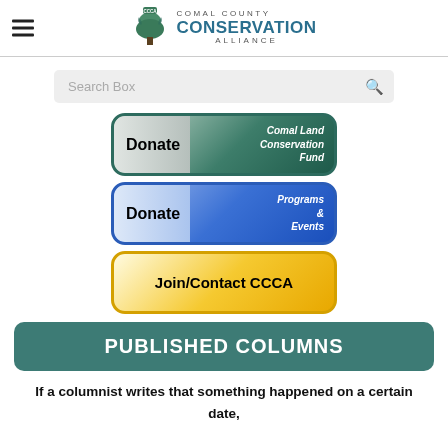[Figure (logo): Comal County Conservation Alliance logo with tree icon and text]
[Figure (screenshot): Search box with magnifying glass icon]
[Figure (infographic): Green Donate button for Comal Land Conservation Fund]
[Figure (infographic): Blue Donate button for Programs & Events]
[Figure (infographic): Yellow Join/Contact CCCA button]
PUBLISHED COLUMNS
If a columnist writes that something happened on a certain date,